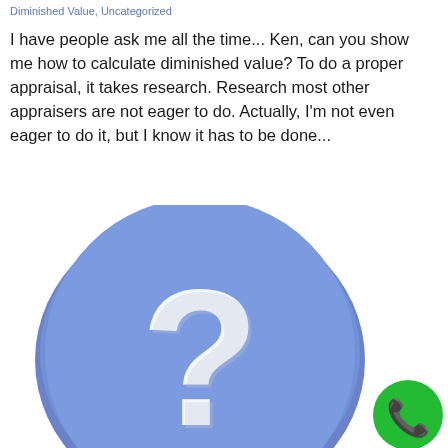Diminished Value, Uncategorized
I have people ask me all the time... Ken, can you show me how to calculate diminished value? To do a proper appraisal, it takes research. Research most other appraisers are not eager to do. Actually, I'm not even eager to do it, but I know it has to be done...
[Figure (illustration): A 3D blue circle with a white question mark in the center, and a small green circle with a white phone icon in the bottom right corner.]